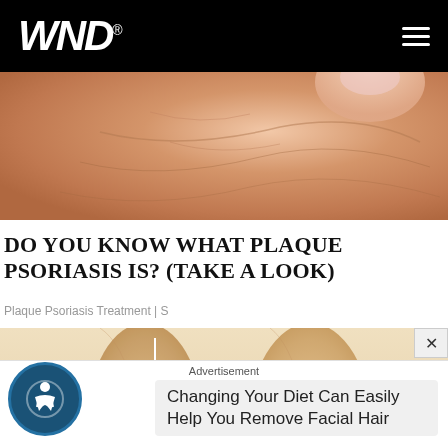WND
[Figure (photo): Close-up photo of human skin/elbow area showing skin texture, pinkish-tan tones, possibly showing psoriasis condition]
DO YOU KNOW WHAT PLAQUE PSORIASIS IS? (TAKE A LOOK)
Plaque Psoriasis Treatment | S
[Figure (photo): Photo of human legs/knees area with a white magnifier overlay icon pointing to the skin, possibly showing psoriasis plaques on legs]
Advertisement
Changing Your Diet Can Easily Help You Remove Facial Hair